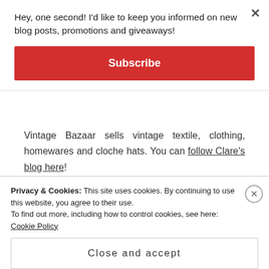Hey, one second! I'd like to keep you informed on new blog posts, promotions and giveaways!
Subscribe
Vintage Bazaar sells vintage textile, clothing, homewares and cloche hats. You can follow Clare's blog here!
[Figure (photo): Photo of vintage items, showing dark wooden shelves/furniture on the left and a floral decorative object on the right]
Privacy & Cookies: This site uses cookies. By continuing to use this website, you agree to their use.
To find out more, including how to control cookies, see here: Cookie Policy
Close and accept